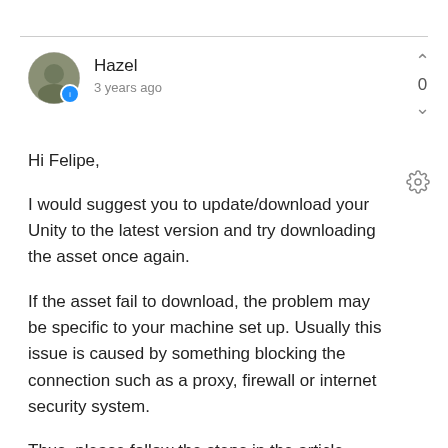[Figure (illustration): Circular avatar photo of user Hazel with a blue moderator badge]
Hazel
3 years ago
Hi Felipe,
I would suggest you to update/download your Unity to the latest version and try downloading the asset once again.
If the asset fail to download, the problem may be specific to your machine set up. Usually this issue is caused by something blocking the connection such as a proxy, firewall or internet security system.
Thus, please follow the steps in the article above to check on your internet connection.
If you are still experiencing this issue after trying the